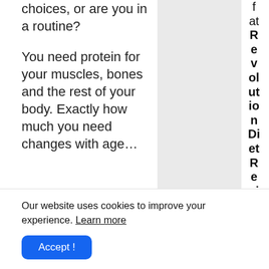choices, or are you in a routine?
You need protein for your muscles, bones and the rest of your body. Exactly how much you need changes with age…
[Figure (other): Light gray rectangular column in the center of the page, likely an image placeholder]
Fat Revolution Diet Review J 2
Our website uses cookies to improve your experience. Learn more
Accept !